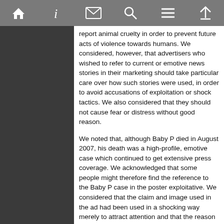Navigation bar with home, info, mail, search, menu, and up icons
report animal cruelty in order to prevent future acts of violence towards humans. We considered, however, that advertisers who wished to refer to current or emotive news stories in their marketing should take particular care over how such stories were used, in order to avoid accusations of exploitation or shock tactics. We also considered that they should not cause fear or distress without good reason.
We noted that, although Baby P died in August 2007, his death was a high-profile, emotive case which continued to get extensive press coverage. We acknowledged that some people might therefore find the reference to the Baby P case in the poster exploitative. We considered that the claim and image used in the ad had been used in a shocking way merely to attract attention and that the reason did not justify the means in this case. We therefore also considered that the ad was likely to cause serious offence and distress to some people.
Furthermore, we noted that the poster had appeared in the area where Baby P had lived and died. We considered that the ad was likely to be particularly sensitive for residents of that area, and was likely to cause serious offence and distress to some residents.